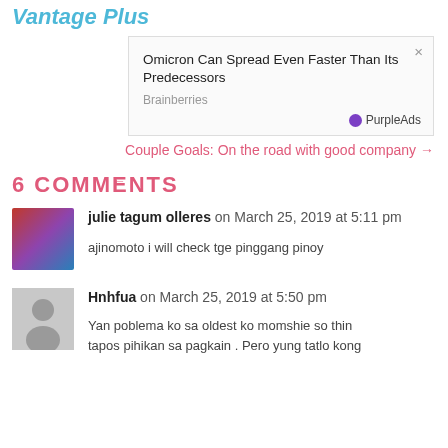Vantage Plus
[Figure (screenshot): Ad popup box showing article title 'Omicron Can Spread Even Faster Than Its Predecessors' from Brainberries, with PurpleAds branding and close button.]
Couple Goals: On the road with good company →
6 COMMENTS
julie tagum olleres on March 25, 2019 at 5:11 pm
ajinomoto i will check tge pinggang pinoy
Hnhfua on March 25, 2019 at 5:50 pm
Yan poblema ko sa oldest ko momshie so thin tapos pihikan sa pagkain . Pero yung tatlo kong